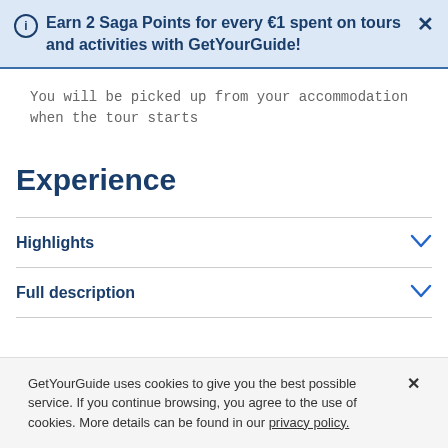Earn 2 Saga Points for every €1 spent on tours and activities with GetYourGuide!
You will be picked up from your accommodation when the tour starts
Experience
Highlights
Full description
GetYourGuide uses cookies to give you the best possible service. If you continue browsing, you agree to the use of cookies. More details can be found in our privacy policy.